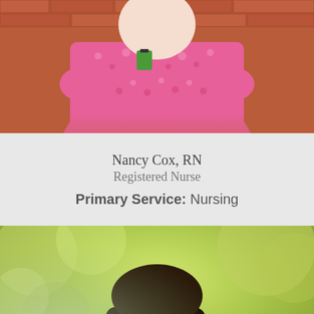[Figure (photo): Professional photo of Nancy Cox, RN, wearing pink patterned scrubs with a badge, standing in front of a brick wall background.]
Nancy Cox, RN
Registered Nurse
Primary Service: Nursing
[Figure (photo): Professional outdoor photo of a smiling woman with long dark hair, wearing a beige blazer, with blurred green foliage in the background.]